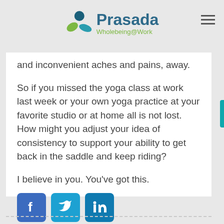[Figure (logo): Prasada Wholebeing@Work logo with circular green/teal icon and teal/blue text]
and inconvenient aches and pains, away.
So if you missed the yoga class at work last week or your own yoga practice at your favorite studio or at home all is not lost. How might you adjust your idea of consistency to support your ability to get back in the saddle and keep riding?
I believe in you. You've got this.
[Figure (infographic): Facebook, Twitter, and LinkedIn social sharing icons]